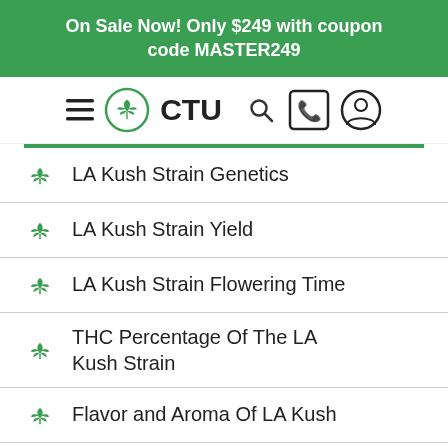On Sale Now! Only $249 with coupon code MASTER249
[Figure (logo): CTU cannabis logo with hamburger menu, search, phone, and user account icons in navigation bar]
LA Kush Strain Genetics
LA Kush Strain Yield
LA Kush Strain Flowering Time
THC Percentage Of The LA Kush Strain
Flavor and Aroma Of LA Kush
Medical Conditions LA Kush